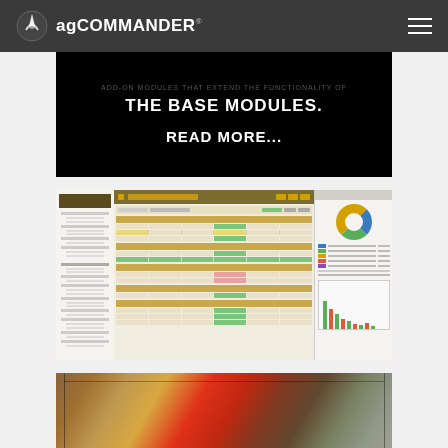agCOMMANDER
THE BASE MODULES.
READ MORE...
[Figure (screenshot): Screenshot of agCOMMANDER software interface showing farm management data tables with color-coded rows, a donut chart, and a bar chart on the right panel]
[Figure (photo): Aerial photograph of agricultural fields showing heat map overlay with red, orange, and earth-tone colors indicating crop or soil data]